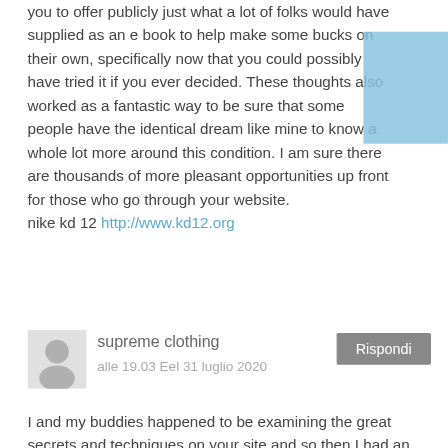you to offer publicly just what a lot of folks would have supplied as an e book to help make some bucks on their own, specifically now that you could possibly have tried it if you ever decided. These thoughts also worked as a fantastic way to be sure that some people have the identical dream like mine to know a whole lot more around this condition. I am sure there are thousands of more pleasant opportunities up front for those who go through your website. nike kd 12 http://www.kd12.org
supreme clothing
alle 19.03 Eel 31 luglio 2020
I and my buddies happened to be examining the great secrets and techniques on your site and so then I had an awful feeling I never thanked the web blog owner for those secrets. Those guys happened to be for that reason stimulated to read through them and have in fact been making the most of these things. Appreciation for really being considerably accommodating as well as for picking this form of superb topics most people are really eager to learn about. My very own sincere regret for not expressing appreciation to sooner. supreme clothing http://www.supremeoutlet.us.com
moncler jacket
alle 16.43 Eel 02 agosto 2020
Thank you a lot for providing individuals with an exceptionally brilliant possiblity to read articles and blog posts from this blog. It's usually very useful plus packed with a good time for me personally and my